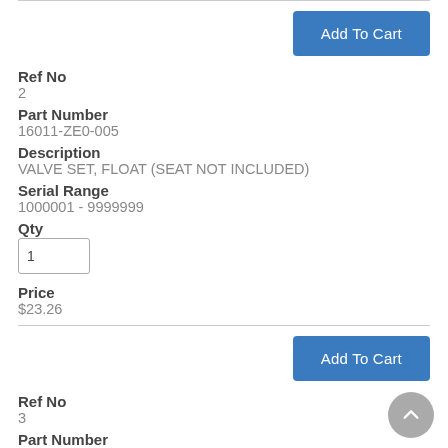[Figure (other): Add To Cart button at top of page]
Ref No
2
Part Number
16011-ZE0-005
Description
VALVE SET, FLOAT (SEAT NOT INCLUDED)
Serial Range
1000001 - 9999999
Qty
1
Price
$23.26
[Figure (other): Add To Cart button at bottom of section]
Ref No
3
Part Number